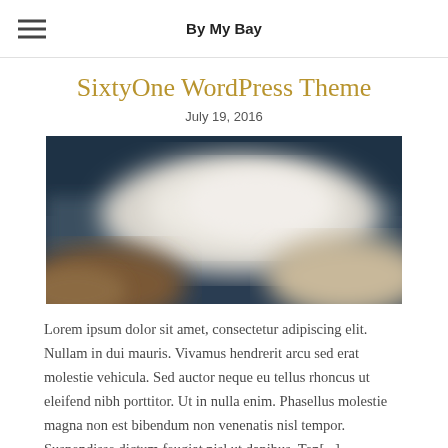By My Bay
SixtyOne WordPress Theme
July 19, 2016
[Figure (photo): Blurred nature/landscape photograph with dark blue upper area and white/cream blurred subject in center, with brownish tones at bottom left]
Lorem ipsum dolor sit amet, consectetur adipiscing elit. Nullam in dui mauris. Vivamus hendrerit arcu sed erat molestie vehicula. Sed auctor neque eu tellus rhoncus ut eleifend nibh porttitor. Ut in nulla enim. Phasellus molestie magna non est bibendum non venenatis nisl tempor. Suspendisse dictum feugiat nisl ut dapibus. Ten[...]